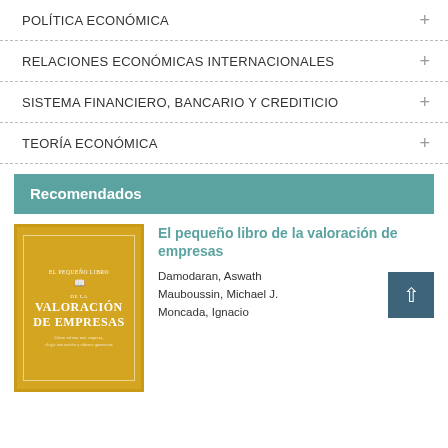POLÍTICA ECONÓMICA
RELACIONES ECONÓMICAS INTERNACIONALES
SISTEMA FINANCIERO, BANCARIO Y CREDITICIO
TEORÍA ECONÓMICA
Recomendados
[Figure (photo): Book cover: El pequeño libro de la valoración de empresas, gold/yellow background with white text]
El pequeño libro de la valoración de empresas
Damodaran, Aswath
Mauboussin, Michael J.
Moncada, Ignacio